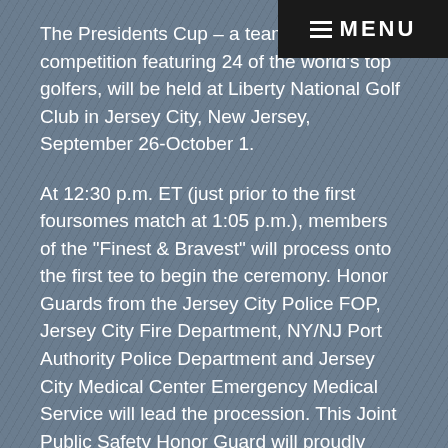[Figure (other): Navigation menu button with three horizontal lines and MENU text on dark background, top-right corner]
The Presidents Cup – a team, match-play competition featuring 24 of the world's top golfers, will be held at Liberty National Golf Club in Jersey City, New Jersey, September 26-October 1.
At 12:30 p.m. ET (just prior to the first foursomes match at 1:05 p.m.), members of the "Finest & Bravest" will process onto the first tee to begin the ceremony. Honor Guards from the Jersey City Police FOP, Jersey City Fire Department, NY/NJ Port Authority Police Department and Jersey City Medical Center Emergency Medical Service will lead the procession. This Joint Public Safety Honor Guard will proudly display the flags of each country represented at the Presidents Cup. Pipe & Drum bands from Jersey City Firefighters Emerald Society, New York/New York Jersey Port Authority Police and Jersey City Police Departments will perform.